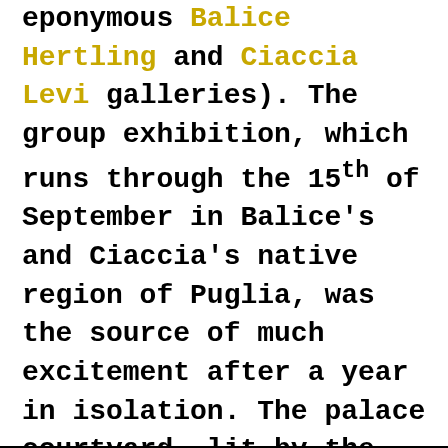eponymous Balice Hertling and Ciaccia Levi galleries). The group exhibition, which runs through the 15th of September in Balice's and Ciaccia's native region of Puglia, was the source of much excitement after a year in isolation. The palace courtyard, lit by the warm glow of Klara Liden's fuel-canister-turned-chandelier, buzzed with excitement as art world dignitaries mingled and toasted to the event's coming success. In the days that followed, a cast of characters assembled over late dinners, beach visits, and farmhouse parties.